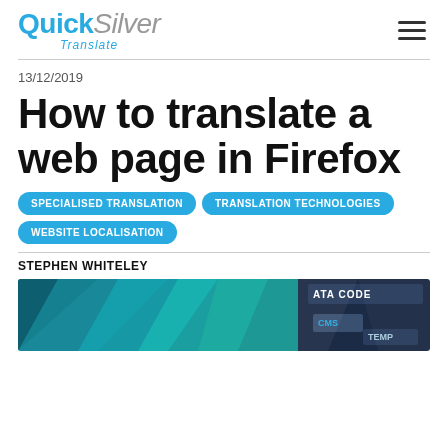QuickSilver Translate
13/12/2019
How to translate a web page in Firefox
SPECIALISED TRANSLATION
TRANSLATION TECHNOLOGIES
WEBSITE LOCALISATION
STEPHEN WHITELEY
[Figure (photo): Hero image showing abstract geometric triangles with tech/CMS overlay elements including text 'DATA CODE', 'CMS', 'TEMP']